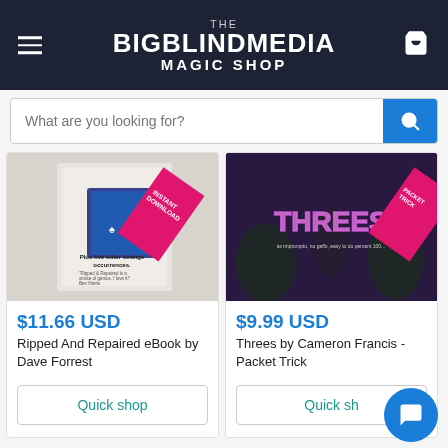THE BIGBLINDMEDIA MAGIC SHOP
What are you looking for?
[Figure (screenshot): Product image for Ripped And Repaired eBook by Dave Forrest - shows book cover with playing cards and INSTANT DOWNLOAD ribbon]
$11.66 USD
Ripped And Repaired eBook by Dave Forrest
Quick shop
[Figure (screenshot): Product image for Threes by Cameron Francis - Packet Trick - shows purple neon-lit THREES text with PACKET TRICK ribbon]
$9.99 USD
Threes by Cameron Francis - Packet Trick
Quick shop